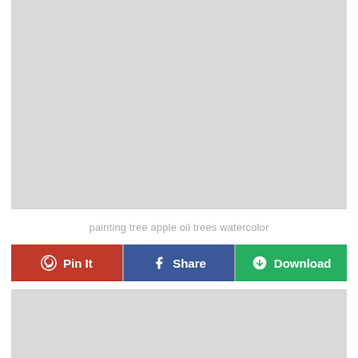[Figure (photo): Gray placeholder image area at top]
painting tree apple oil trees watercolor
Pin It | Share | Download
[Figure (photo): Gray placeholder image area at bottom]